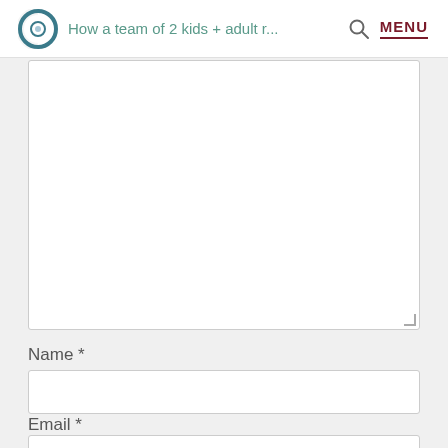How a team of 2 kids + adult r... MENU
[Figure (other): Large empty textarea input field with resize handle at bottom right]
Name *
[Figure (other): Empty text input field for Name]
Email *
[Figure (other): Empty text input field for Email (partially visible)]